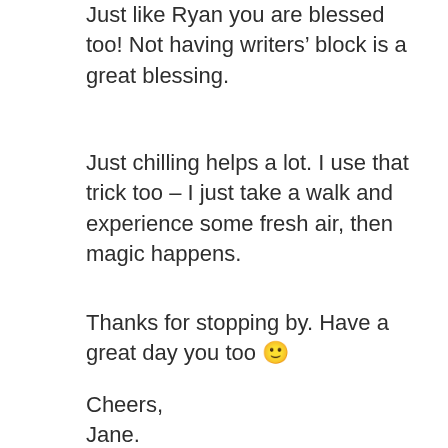Just like Ryan you are blessed too! Not having writers' block is a great blessing.
Just chilling helps a lot. I use that trick too – I just take a walk and experience some fresh air, then magic happens.
Thanks for stopping by. Have a great day you too 🙂
Cheers,
Jane.